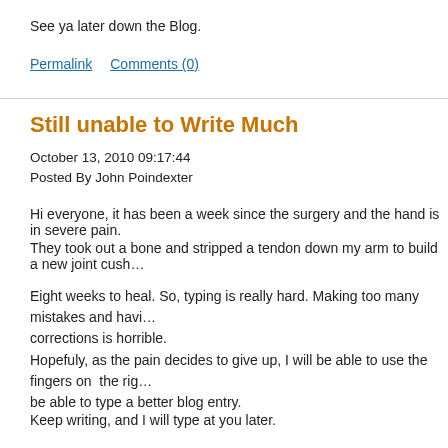See ya later down the Blog.
Permalink    Comments (0)
Still unable to Write Much
October 13, 2010 09:17:44
Posted By John Poindexter
Hi everyone, it has been a week since the surgery and the hand is in severe pain.
They took out a bone and stripped a tendon down my arm to build a new joint cush…
Eight weeks to heal. So, typing is really hard. Making too many mistakes and havi… corrections is horrible.
Hopefuly, as the pain decides to give up, I will be able to use the fingers on the rig… be able to type a better blog entry.
Keep writing, and I will type at you later.